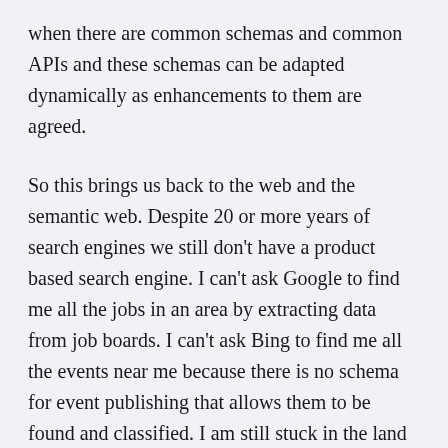when there are common schemas and common APIs and these schemas can be adapted dynamically as enhancements to them are agreed.
So this brings us back to the web and the semantic web. Despite 20 or more years of search engines we still don't have a product based search engine. I can't ask Google to find me all the jobs in an area by extracting data from job boards. I can't ask Bing to find me all the events near me because there is no schema for event publishing that allows them to be found and classified. I am still stuck in the land of the intermediary search, whether it is Skyscanner for flights, Autotrader for cars for sale, Zoopla for properties for sale or rent, Tourism sites for some event information,